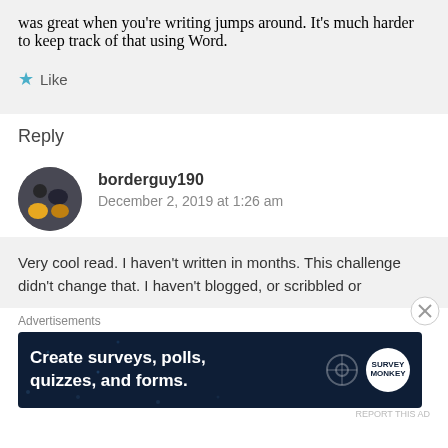was great when you're writing jumps around. It's much harder to keep track of that using Word.
Like
Reply
borderguy190
December 2, 2019 at 1:26 am
Very cool read. I haven't written in months. This challenge didn't change that. I haven't blogged, or scribbled or
Advertisements
[Figure (infographic): Advertisement banner with dark navy background reading 'Create surveys, polls, quizzes, and forms.' with WordPress and SurveyMonkey logos]